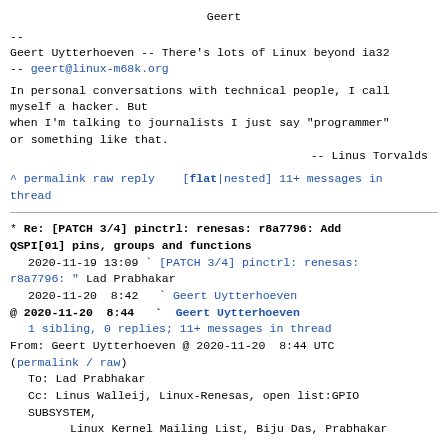Geert
--
Geert Uytterhoeven -- There's lots of Linux beyond ia32
-- geert@linux-m68k.org
In personal conversations with technical people, I call myself a hacker. But
when I'm talking to journalists I just say "programmer"
or something like that.
                                    -- Linus Torvalds
^ permalink raw reply    [flat|nested] 11+ messages in thread
* Re: [PATCH 3/4] pinctrl: renesas: r8a7796: Add QSPI[01] pins, groups and functions
  2020-11-19 13:09 ` [PATCH 3/4] pinctrl: renesas: r8a7796: " Lad Prabhakar
  2020-11-20  8:42   ` Geert Uytterhoeven
@ 2020-11-20  8:44   ` Geert Uytterhoeven
  1 sibling, 0 replies; 11+ messages in thread
From: Geert Uytterhoeven @ 2020-11-20  8:44 UTC (permalink / raw)
  To: Lad Prabhakar
  Cc: Linus Walleij, Linux-Renesas, open list:GPIO SUBSYSTEM,
        Linux Kernel Mailing List, Biju Das, Prabhakar